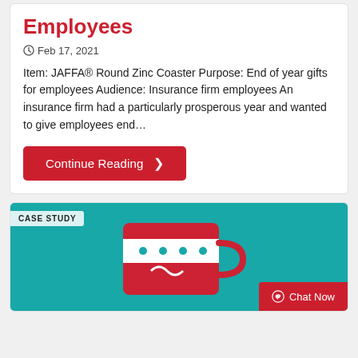Employees
Feb 17, 2021
Item: JAFFA® Round Zinc Coaster Purpose: End of year gifts for employees Audience: Insurance firm employees An insurance firm had a particularly prosperous year and wanted to give employees end...
Continue Reading ❯
[Figure (photo): Case study card with teal background showing a red and white mug/coaster product, with a CASE STUDY badge and a Chat Now button overlay]